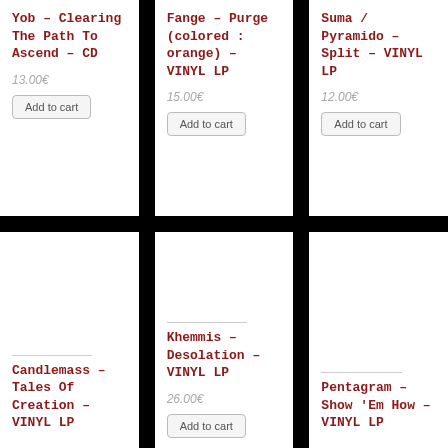Yob – Clearing The Path To Ascend – CD
13.00€
Fange – Purge (colored : orange) – VINYL LP
15.00€
Suma / Pyramido – Split – VINYL LP
12.00€
Candlemass – Tales Of Creation – VINYL LP
Khemmis – Desolation – VINYL LP
26.00€
Pentagram – Show 'Em How – VINYL LP